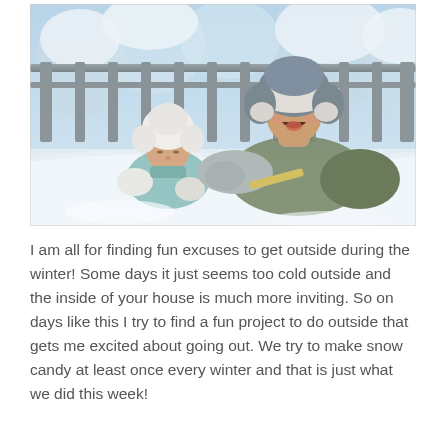[Figure (photo): Two young children lying in snow on a deck. One wears a white fluffy hat and mittens (toddler), the other wears a grey fur-lined trapper hat and khaki jacket (older child), both appearing to eat or taste something from the snow. Snowy trees and wooden deck railing visible in background.]
I am all for finding fun excuses to get outside during the winter! Some days it just seems too cold outside and the inside of your house is much more inviting. So on days like this I try to find a fun project to do outside that gets me excited about going out. We try to make snow candy at least once every winter and that is just what we did this week!